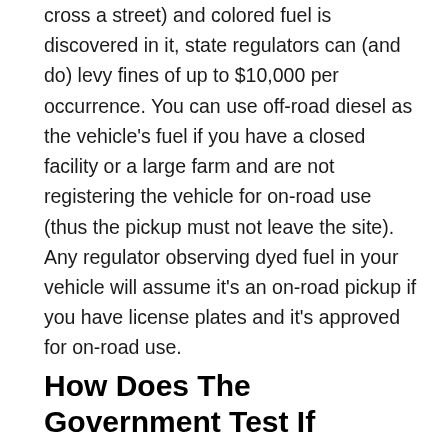cross a street) and colored fuel is discovered in it, state regulators can (and do) levy fines of up to $10,000 per occurrence. You can use off-road diesel as the vehicle's fuel if you have a closed facility or a large farm and are not registering the vehicle for on-road use (thus the pickup must not leave the site). Any regulator observing dyed fuel in your vehicle will assume it's an on-road pickup if you have license plates and it's approved for on-road use.
How Does The Government Test If